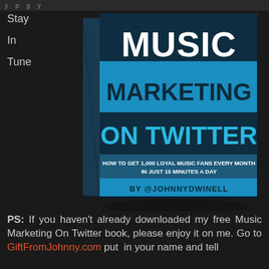y p g y
Stay

In

Tune
[Figure (photo): Book cover of 'Music Marketing On Twitter - How To Get 1,000 Loyal Music Fans Every Month In Just 15 Minutes A Day' by @JohnnyDwinell. Dark blue cover with bold white and light blue text.]
PS: If you haven't already downloaded my free Music Marketing On Twitter book, please enjoy it on me. Go to GiftFromJohnny.com put in your name and tell